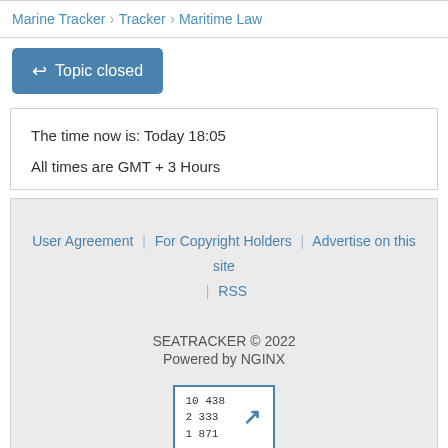Marine Tracker > Tracker > Maritime Law
Topic closed
The time now is: Today 18:05

All times are GMT + 3 Hours
User Agreement | For Copyright Holders | Advertise on this site | RSS

SEATRACKER © 2022
Powered by NGINX